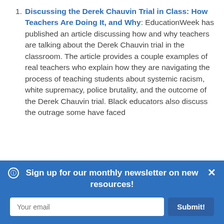Discussing the Derek Chauvin Trial in Class: How Teachers Are Doing It, and Why: EducationWeek has published an article discussing how and why teachers are talking about the Derek Chauvin trial in the classroom. The article provides a couple examples of real teachers who explain how they are navigating the process of teaching students about systemic racism, white supremacy, police brutality, and the outcome of the Derek Chauvin trial. Black educators also discuss the outrage some have faced
Sign up for our monthly newsletter on new resources!